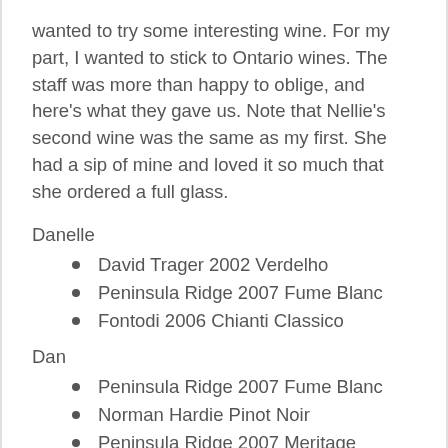wanted to try some interesting wine. For my part, I wanted to stick to Ontario wines. The staff was more than happy to oblige, and here's what they gave us. Note that Nellie's second wine was the same as my first. She had a sip of mine and loved it so much that she ordered a full glass.
Danelle
David Trager 2002 Verdelho
Peninsula Ridge 2007 Fume Blanc
Fontodi 2006 Chianti Classico
Dan
Peninsula Ridge 2007 Fume Blanc
Norman Hardie Pinot Noir
Peninsula Ridge 2007 Meritage